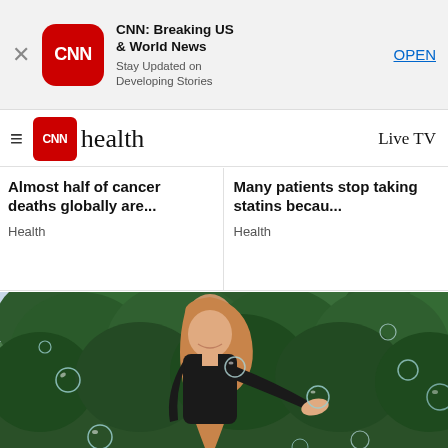[Figure (screenshot): CNN app download banner with CNN logo, app name 'CNN: Breaking US & World News', tagline 'Stay Updated on Developing Stories', and OPEN button]
CNN health — Live TV
Almost half of cancer deaths globally are...
Health
Many patients stop taking statins becau...
Health
[Figure (photo): Woman in black t-shirt smiling and looking at soap bubbles floating around her in an outdoor setting with trees in the background]